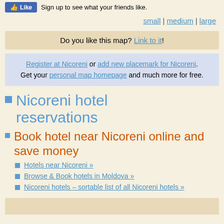Like  Sign up to see what your friends like.
small | medium | large
Do you like this map? Link to it!
Register at Nicoreni or add new placemark for Nicoreni. Get your personal map homepage and much more for free.
Nicoreni hotel reservations
Book hotel near Nicoreni online and save money
Hotels near Nicoreni »
Browse & Book hotels in Moldova »
Nicoreni hotels – sortable list of all Nicoreni hotels »